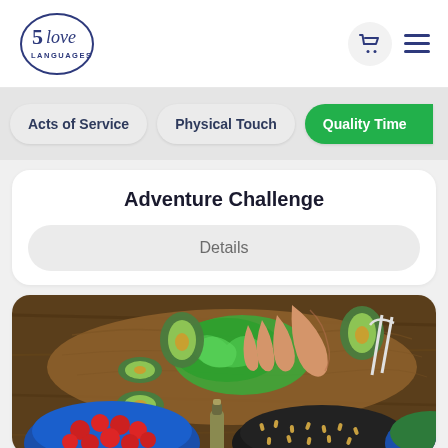[Figure (logo): 5 Love Languages logo in dark blue/purple with circular text]
Acts of Service
Physical Touch
Quality Time
Adventure Challenge
Details
[Figure (photo): Overhead view of food preparation on a wood cutting board with avocados, lettuce, cherry tomatoes, a pan with seeds, and a bottle, with a hand reaching in]